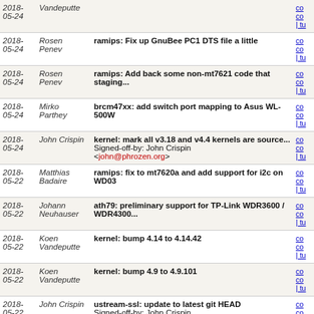| Date | Author | Message | Links |
| --- | --- | --- | --- |
| 2018-
05-24 | Vandeputte |  | co
co
| tu |
| 2018-
05-24 | Rosen
Penev | ramips: Fix up GnuBee PC1 DTS file a little | co
co
| tu |
| 2018-
05-24 | Rosen
Penev | ramips: Add back some non-mt7621 code that staging... | co
co
| tu |
| 2018-
05-24 | Mirko
Parthey | brcm47xx: add switch port mapping to Asus WL-500W | co
co
| tu |
| 2018-
05-24 | John Crispin | kernel: mark all v3.18 and v4.4 kernels are source...
Signed-off-by: John Crispin <john@phrozen.org> | co
co
| tu |
| 2018-
05-22 | Matthias
Badaire | ramips: fix to mt7620a and add support for i2c on WD03 | co
co
| tu |
| 2018-
05-22 | Johann
Neuhauser | ath79: preliminary support for TP-Link WDR3600 / WDR4300... | co
co
| tu |
| 2018-
05-22 | Koen
Vandeputte | kernel: bump 4.14 to 4.14.42 | co
co
| tu |
| 2018-
05-22 | Koen
Vandeputte | kernel: bump 4.9 to 4.9.101 | co
co
| tu |
| 2018-
05-22 | John Crispin | ustream-ssl: update to latest git HEAD
Signed-off-by: John Crispin <john@phrozen.org> | co
co
| tu |
| 2018-
05-22 | Hauke
Mehrtens | mbedtls: Deactivate platform abstraction | co
co
| tu |
| 2018-
05-22 | Hauke
Mehrtens | mbedtls: Activate the session cache | co
co
| tu |
| 2018- | Hauke | mbedtls: update to version 2.9.0 | co |